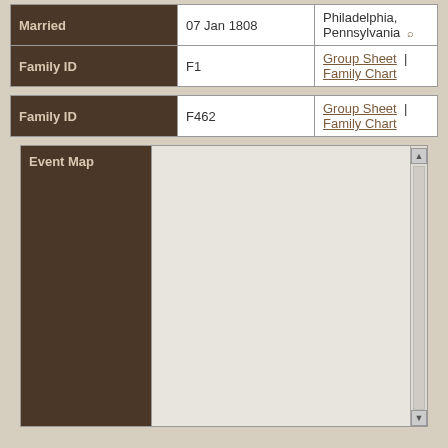| Field | Value | Links |
| --- | --- | --- |
| Married | 07 Jan 1808 | Philadelphia, Pennsylvania |
| Family ID | F1 | Group Sheet | Family Chart |
| Field | Value | Links |
| --- | --- | --- |
| Family ID | F462 | Group Sheet | Family Chart |
[Figure (other): Event Map panel with dark brown label column on the left and a light grey map area on the right with a scrollbar]